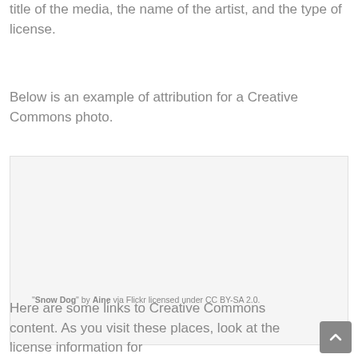title of the media, the name of the artist, and the type of license.
Below is an example of attribution for a Creative Commons photo.
[Figure (photo): Placeholder area for a Creative Commons photo example (Snow Dog image)]
"Snow Dog" by Aine via Flickr licensed under CC BY-SA 2.0.
Here are some links to Creative Commons content. As you visit these places, look at the license information for...